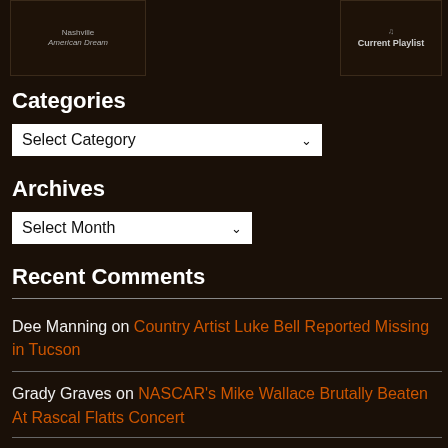[Figure (photo): Nashville American Dream album cover or similar image, partial view]
[Figure (photo): Current Playlist logo/image with stylized text]
Categories
Select Category (dropdown)
Archives
Select Month (dropdown)
Recent Comments
Dee Manning on Country Artist Luke Bell Reported Missing in Tucson
Grady Graves on NASCAR's Mike Wallace Brutally Beaten At Rascal Flatts Concert